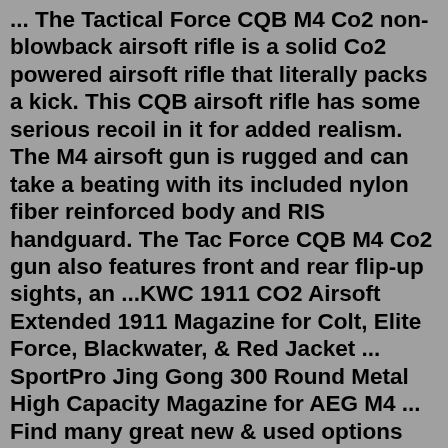... The Tactical Force CQB M4 Co2 non-blowback airsoft rifle is a solid Co2 powered airsoft rifle that literally packs a kick. This CQB airsoft rifle has some serious recoil in it for added realism. The M4 airsoft gun is rugged and can take a beating with its included nylon fiber reinforced body and RIS handguard. The Tac Force CQB M4 Co2 gun also features front and rear flip-up sights, an ...KWC 1911 CO2 Airsoft Extended 1911 Magazine for Colt, Elite Force, Blackwater, & Red Jacket ... SportPro Jing Gong 300 Round Metal High Capacity Magazine for AEG M4 ... Find many great new & used options and get the best deals for GHK M4 Gas Blowback Co2 Outlet Airsoft GBB Magazine Valve for Replacement at the best online prices at eBay! Free shipping for many products! Glock G17 Gen 4 CO2 Airsoft Magazine - 6mm Black Magazine for GLOCK G17 Gen4 CO2 Airsoft Pistol < $59.99 GLOCK G18 GEN 3 GBB EXTENDED MAG-6MM-BLACK Magazine for Full-Auto GLOCK 18C airsoft pistol. < $69.99 GLOCK